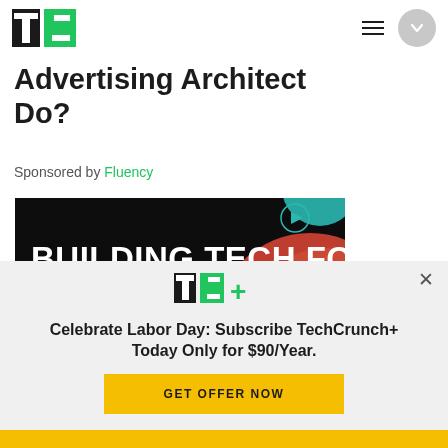TechCrunch logo, hamburger menu, circle button
Advertising Architect Do?
Sponsored by Fluency
[Figure (photo): Dark advertisement banner with text BUILDING TECH FOR, colorful circles on right side]
TC+ — Celebrate Labor Day: Subscribe TechCrunch+ Today Only for $90/Year. GET OFFER NOW